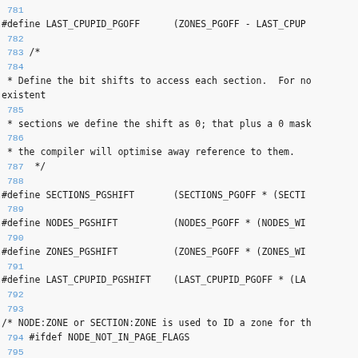781
#define LAST_CPUPID_PGOFF      (ZONES_PGOFF - LAST_CPUP
782
783 /*
784
 * Define the bit shifts to access each section.  For no
existent
785
 * sections we define the shift as 0; that plus a 0 mask
786
 * the compiler will optimise away reference to them.
787  */
788
#define SECTIONS_PGSHIFT       (SECTIONS_PGOFF * (SECTI
789
#define NODES_PGSHIFT          (NODES_PGOFF * (NODES_WI
790
#define ZONES_PGSHIFT          (ZONES_PGOFF * (ZONES_WI
791
#define LAST_CPUPID_PGSHIFT    (LAST_CPUPID_PGOFF * (LA
792
793
/* NODE:ZONE or SECTION:ZONE is used to ID a zone for th
 794 #ifdef NODE_NOT_IN_PAGE_FLAGS
 795